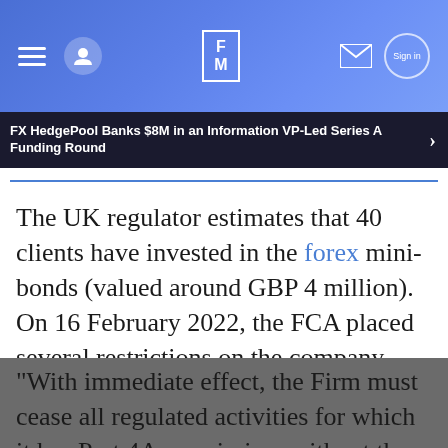[Figure (screenshot): Navigation bar with hamburger menu, user icon, FM logo, email icon, and sign-in button on blue gradient background]
FX HedgePool Banks $8M in an Information VP-Led Series A Funding Round
The UK regulator estimates that 40 clients have invested in the forex mini-bonds (valued around GBP 4 million). On 16 February 2022, the FCA placed several restrictions on the company.
"With immediate effect, the Firm must cease all regulated activities for which it has Part 4A permission, without the prior written consent of the Authority.